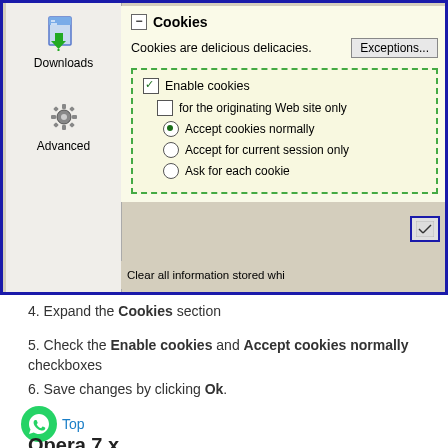[Figure (screenshot): Browser settings screenshot showing Cookies section with Downloads and Advanced icons in sidebar, Enable cookies checked, Accept cookies normally radio selected, dashed green box around cookie options]
4. Expand the Cookies section
5. Check the Enable cookies and Accept cookies normally checkboxes
6. Save changes by clicking Ok.
Top
Opera 7.x